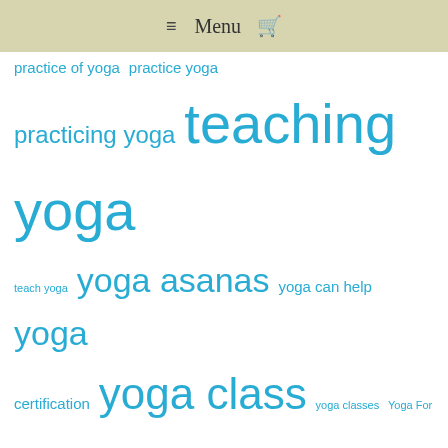≡ Menu 🛒
practice of yoga practice yoga practicing yoga teaching yoga teach yoga yoga asanas yoga can help yoga certification yoga class yoga classes Yoga For yoga instructor yoga instructor certification Yoga instructors yoga instructor training yoga instructor videos yoga is yoga mat yoga meditation yoga poses yoga postures yoga practice yoga practitioners yoga student yoga teacher yoga teacher certification yoga teacher certification course yoga teachers Yoga Teachers Training yoga teacher training yoga teaching